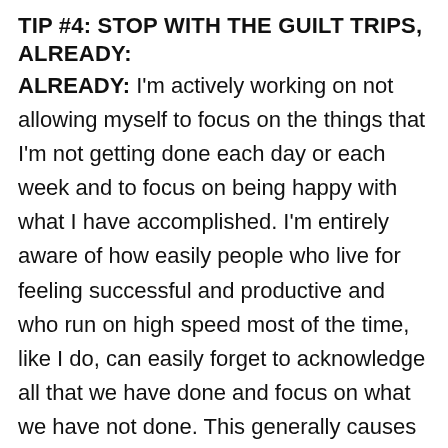TIP #4: STOP WITH THE GUILT TRIPS, ALREADY:
I'm actively working on not allowing myself to focus on the things that I'm not getting done each day or each week and to focus on being happy with what I have accomplished. I'm entirely aware of how easily people who live for feeling successful and productive and who run on high speed most of the time, like I do, can easily forget to acknowledge all that we have done and focus on what we have not done. This generally causes us to feel completely terrible internally, while the world wonders what our problem is. So, again, I'm